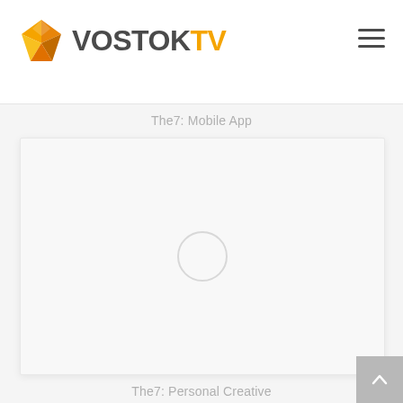[Figure (logo): Vostok TV logo with orange/yellow geometric gem icon and bold text VOSTOK in dark gray and TV in orange]
The7: Mobile App
[Figure (screenshot): Large light gray placeholder image box with a light gray circle in the center, indicating an unloaded image]
The7: Personal Creative